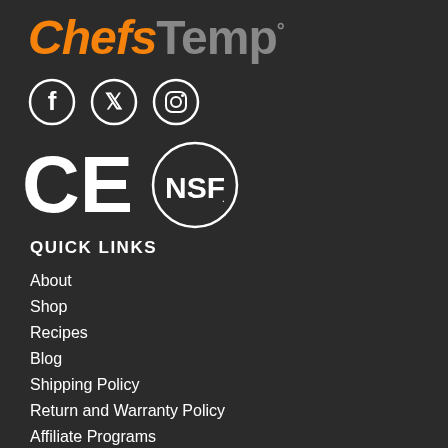[Figure (logo): ChefsTemp logo with 'Chefs' in orange italic and 'Temp' in grey, with registered trademark symbol]
[Figure (illustration): Social media icons: Facebook, Twitter, Instagram circles]
[Figure (logo): CE certification mark and NSF certification mark circle]
QUICK LINKS
About
Shop
Recipes
Blog
Shipping Policy
Return and Warranty Policy
Affiliate Programs
Become A Dealer
FAQs